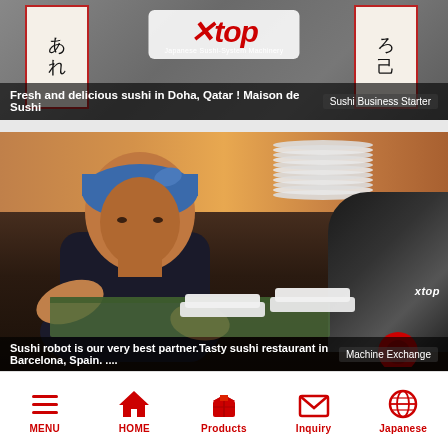[Figure (photo): Top banner showing a Japanese calligraphy scene with two people holding signs, overlaid with the Xtop logo. Caption reads 'Fresh and delicious sushi in Doha, Qatar ! Maison de Sushi' with label 'Sushi Business Starter']
[Figure (photo): Second image showing a chef in a blue bandana working in a sushi restaurant kitchen with an Xtop sushi robot machine visible. Caption reads 'Sushi robot is our very best partner.Tasty sushi restaurant in Barcelona, Spain. ...' with label 'Machine Exchange']
MENU  HOME  Products  Inquiry  Japanese